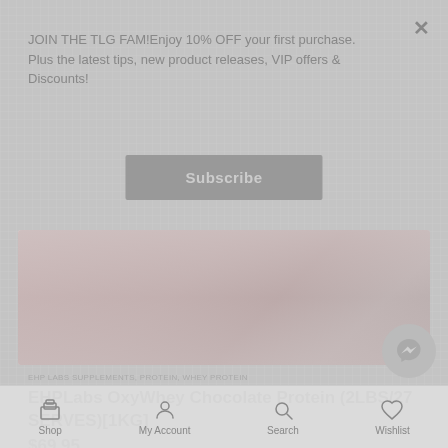JOIN THE TLG FAM!Enjoy 10% OFF your first purchase. Plus the latest tips, new product releases, VIP offers & Discounts!
Subscribe
[Figure (photo): Product image of EHPLabs OxyWhey Chocolate Protein tub with pink/rose coloring]
EHP LABS SUPPLEMENTS, PROTEIN, WHEY PROTEIN
EHPLabs OxyWhey Chocolate Protein (2LBS/27 SERVES)[1KG]
$69.95
Shop | My Account | Search | Wishlist